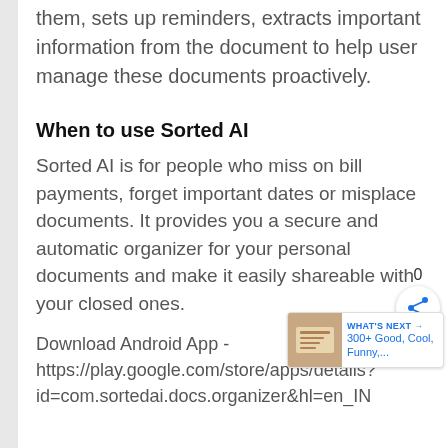them, sets up reminders, extracts important information from the document to help user manage these documents proactively.
When to use Sorted AI
Sorted AI is for people who miss on bill payments, forget important dates or misplace documents. It provides you a secure and automatic organizer for your personal documents and make it easily shareable with your closed ones.
Download Android App - https://play.google.com/store/apps/details?id=com.sortedai.docs.organizer&hl=en_IN
See Alternatives to Sorted AI →
See Sorted AI's Competitors →